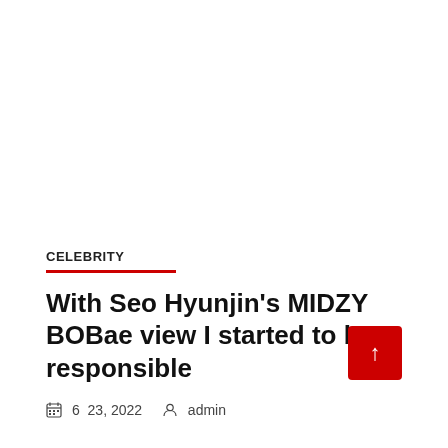CELEBRITY
With Seo Hyunjin's MIDZY BOBae view I started to be responsible
6  23, 2022   admin